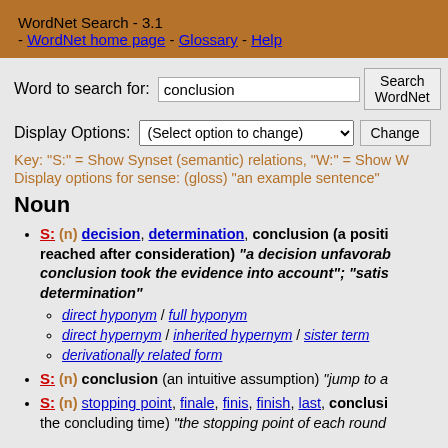WordNet Search - 3.1 - WordNet home page - Glossary - Help
Word to search for: conclusion [Search WordNet]
Display Options: (Select option to change) [Change]
Key: "S:" = Show Synset (semantic) relations, "W:" = Show W
Display options for sense: (gloss) "an example sentence"
Noun
S: (n) decision, determination, conclusion (a positi... reached after consideration) "a decision unfavorab... conclusion took the evidence into account"; "satis... determination"
direct hyponym / full hyponym
direct hypernym / inherited hypernym / sister term...
derivationally related form
S: (n) conclusion (an intuitive assumption) "jump to a..."
S: (n) stopping point, finale, finis, finish, last, conclusi... the concluding time) "the stopping point of each round..."